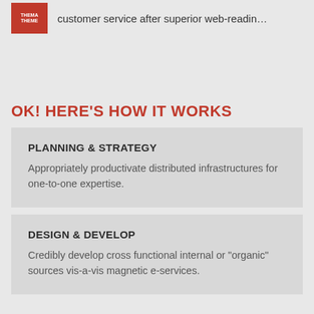[Figure (illustration): Red thumbnail image with white text (logo/theme label)]
customer service after superior web-readin...
OK! HERE'S HOW IT WORKS
PLANNING & STRATEGY
Appropriately productivate distributed infrastructures for one-to-one expertise.
DESIGN & DEVELOP
Credibly develop cross functional internal or "organic" sources vis-a-vis magnetic e-services.